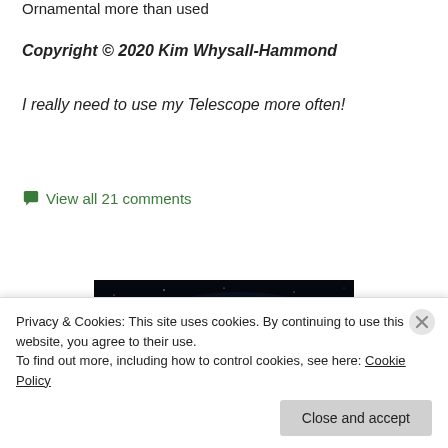Ornamental more than used
Copyright © 2020 Kim Whysall-Hammond
I really need to use my Telescope more often!
💬 View all 21 comments
[Figure (photo): A dark night sky with bright blue stars, resembling a star cluster (Pleiades-like)]
Privacy & Cookies: This site uses cookies. By continuing to use this website, you agree to their use. To find out more, including how to control cookies, see here: Cookie Policy
Close and accept